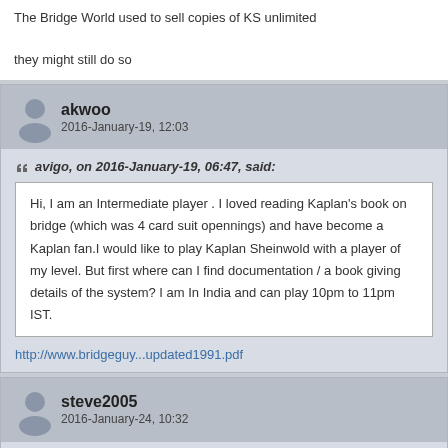The Bridge World used to sell copies of KS unlimited

they might still do so
akwoo
2016-January-19, 12:03
avigo, on 2016-January-19, 06:47, said:
Hi, I am an Intermediate player . I loved reading Kaplan's book on bridge (which was 4 card suit opennings) and have become a Kaplan fan.I would like to play Kaplan Sheinwold with a player of my level. But first where can I find documentation / a book giving details of the system? I am In India and can play 10pm to 11pm IST.
http://www.bridgeguy...updated1991.pdf
steve2005
2016-January-24, 10:32
akwoo, on 2016-January-19, 12:03, said: